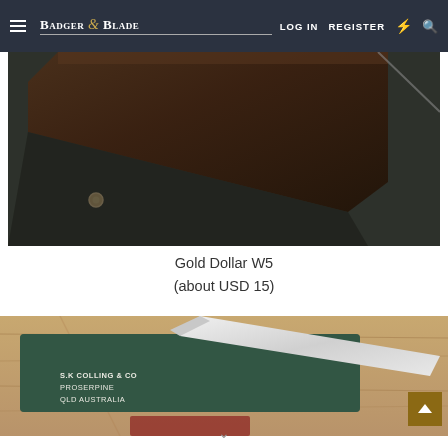Badger & Blade — LOG IN   REGISTER
[Figure (photo): Close-up photo of a straight razor handle on a dark background, showing the wooden handle with a small metal pin/pivot, blade partially visible.]
Gold Dollar W5
(about USD 15)
[Figure (photo): Photo of a straight razor on a wooden surface. The blade is open and resting on what appears to be a dark green case/box. Text on case reads: S.K COLLING & CO, PROSERPINE, QLD AUSTRALIA.]